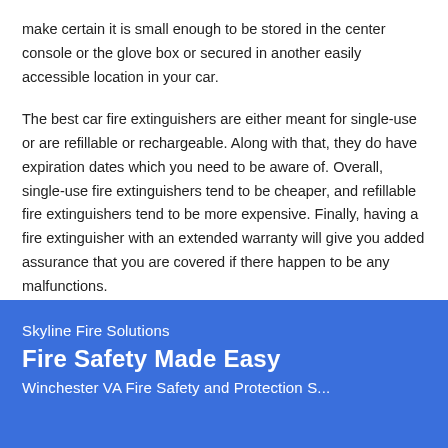make certain it is small enough to be stored in the center console or the glove box or secured in another easily accessible location in your car.
The best car fire extinguishers are either meant for single-use or are refillable or rechargeable. Along with that, they do have expiration dates which you need to be aware of. Overall, single-use fire extinguishers tend to be cheaper, and refillable fire extinguishers tend to be more expensive. Finally, having a fire extinguisher with an extended warranty will give you added assurance that you are covered if there happen to be any malfunctions.
Skyline Fire Solutions
Fire Safety Made Easy
Winchester VA Fire Safety and Protection S...